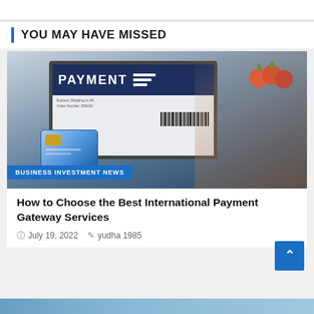YOU MAY HAVE MISSED
[Figure (photo): Person holding a blue credit card while typing on a laptop showing a PAYMENT screen with barcode, with apples in background. Category badge: BUSINESS INVESTMENT NEWS]
BUSINESS INVESTMENT NEWS
How to Choose the Best International Payment Gateway Services
July 19, 2022   yudha 1985